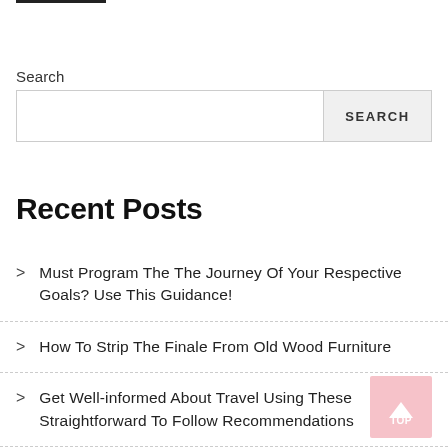Search
SEARCH
Recent Posts
Must Program The The Journey Of Your Respective Goals? Use This Guidance!
How To Strip The Finale From Old Wood Furniture
Get Well-informed About Travel Using These Straightforward To Follow Recommendations